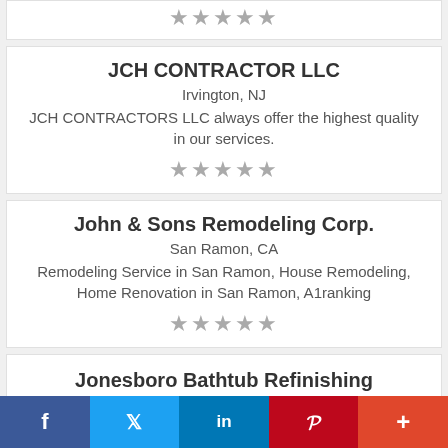★★★★★
JCH CONTRACTOR LLC
Irvington, NJ
JCH CONTRACTORS LLC always offer the highest quality in our services.
★★★★★
John & Sons Remodeling Corp.
San Ramon, CA
Remodeling Service in San Ramon, House Remodeling, Home Renovation in San Ramon, A1ranking
★★★★★
Jonesboro Bathtub Refinishing
f  t  in  P  +